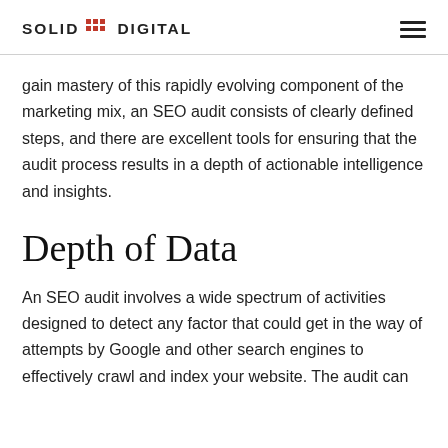SOLID DIGITAL
gain mastery of this rapidly evolving component of the marketing mix, an SEO audit consists of clearly defined steps, and there are excellent tools for ensuring that the audit process results in a depth of actionable intelligence and insights.
Depth of Data
An SEO audit involves a wide spectrum of activities designed to detect any factor that could get in the way of attempts by Google and other search engines to effectively crawl and index your website. The audit can